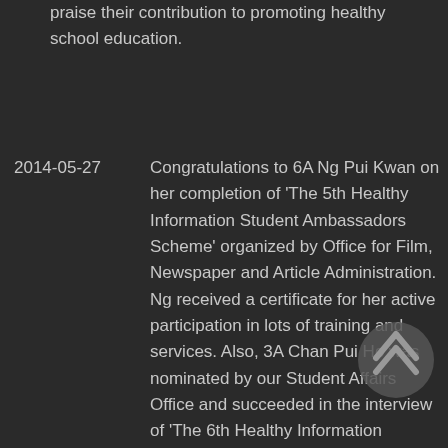praise their contribution to promoting healthy school education.
2014-05-27 Congratulations to 6A Ng Pui Kwan on her completion of 'The 5th Healthy Information Student Ambassadors Scheme' organized by Office for Film, Newspaper and Article Administration. Ng received a certificate for her active participation in lots of training and services. Also, 3A Chan Pui Ho was nominated by our Student Affairs Office and succeeded in the interview of 'The 6th Healthy Information Student Ambassadors Scheme'. He will be the new Healthy Information Student Ambassador.